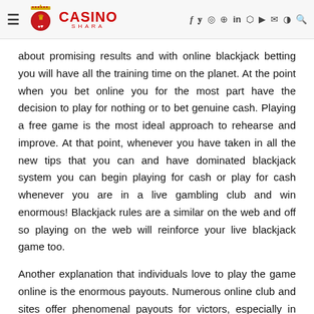Casino Shara — Navigation header with logo and social media icons
about promising results and with online blackjack betting you will have all the training time on the planet. At the point when you bet online you for the most part have the decision to play for nothing or to bet genuine cash. Playing a free game is the most ideal approach to rehearse and improve. At that point, whenever you have taken in all the new tips that you can and have dominated blackjack system you can begin playing for cash or play for cash whenever you are in a live gambling club and win enormous! Blackjack rules are a similar on the web and off so playing on the web will reinforce your live blackjack game too.
Another explanation that individuals love to play the game online is the enormous payouts. Numerous online club and sites offer phenomenal payouts for victors, especially in blackjack competitions. You can pay a one-time passage charge to take an interest in a competition. For this section